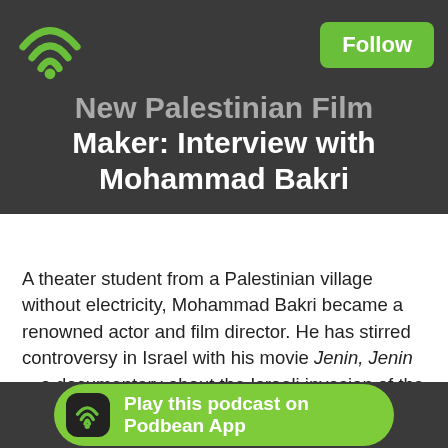New Palestinian Film Maker: Interview with Mohammad Bakri
A theater student from a Palestinian village without electricity, Mohammad Bakri became a renowned actor and film director. He has stirred controversy in Israel with his movie Jenin, Jenin—a documentary about the Israeli invasion of the refugee camp in Jenin as told entirely from the Palestinian residents themselves.
In 2002, Israeli military prevented journalists and human rights organizations from entering Jenin. Rumors of a massacre began to surface. Mohammad Bakri [continued] ...the
Play this podcast on Podbean App